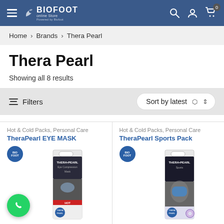BIOFOOT online Store — Navigation bar with hamburger menu, logo, search, user and cart icons
Home > Brands > Thera Pearl
Thera Pearl
Showing all 8 results
Filters   Sort by latest
Hot & Cold Packs, Personal Care
TheraPearl EYE MASK
Hot & Cold Packs, Personal Care
TheraPearl Sports Pack
[Figure (photo): TheraPearl EYE MASK product box packaging showing a woman wearing a blue gel eye mask]
[Figure (photo): TheraPearl Sports Pack product box packaging showing a sports/therapy gel pack]